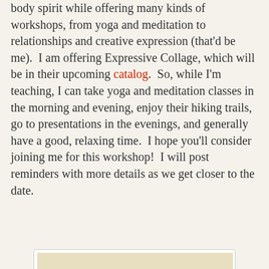body spirit while offering many kinds of workshops, from yoga and meditation to relationships and creative expression (that'd be me).  I am offering Expressive Collage, which will be in their upcoming catalog.  So, while I'm teaching, I can take yoga and meditation classes in the morning and evening, enjoy their hiking trails, go to presentations in the evenings, and generally have a good, relaxing time.  I hope you'll consider joining me for this workshop!  I will post reminders with more details as we get closer to the date.
[Figure (illustration): Abstract painting with organic rounded shapes outlined in teal/green and golden yellow on a light cream/yellow background, with black, salmon/pink, and gray marks and washes.]